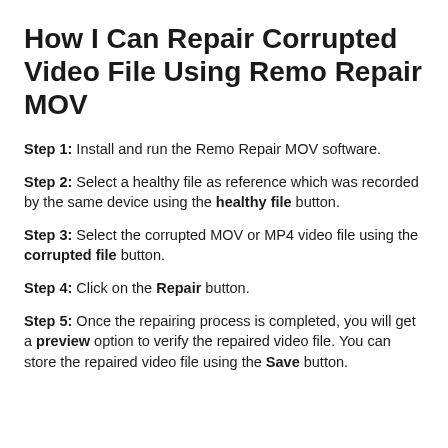How I Can Repair Corrupted Video File Using Remo Repair MOV
Step 1: Install and run the Remo Repair MOV software.
Step 2: Select a healthy file as reference which was recorded by the same device using the healthy file button.
Step 3: Select the corrupted MOV or MP4 video file using the corrupted file button.
Step 4: Click on the Repair button.
Step 5: Once the repairing process is completed, you will get a preview option to verify the repaired video file. You can store the repaired video file using the Save button.